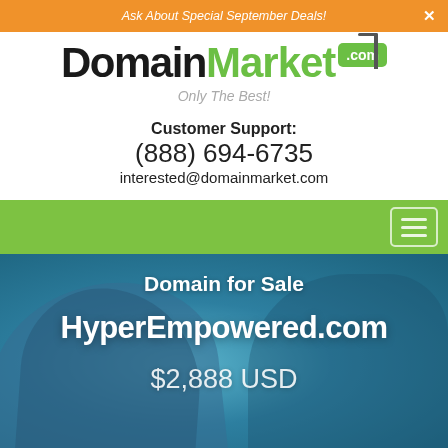Ask About Special September Deals!
[Figure (logo): DomainMarket.com logo with green .com badge and real estate sign pole, tagline: Only The Best!]
Customer Support:
(888) 694-6735
interested@domainmarket.com
[Figure (screenshot): Green navigation bar with hamburger menu button on right]
Domain for Sale
HyperEmpowered.com
$2,888 USD